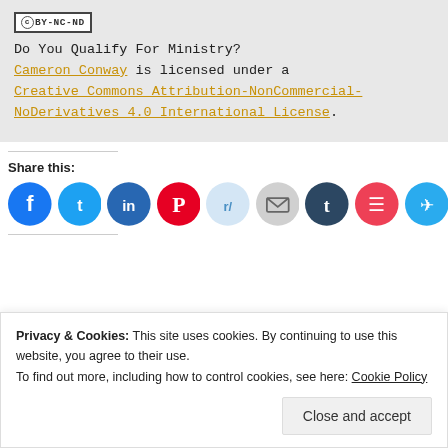CC BY-NC-ND
Do You Qualify For Ministry? Cameron Conway is licensed under a Creative Commons Attribution-NonCommercial-NoDerivatives 4.0 International License.
Share this:
[Figure (infographic): Row of social share icon buttons: Facebook, Twitter, LinkedIn, Pinterest, Reddit, Email, Tumblr, Pocket, Telegram]
Privacy & Cookies: This site uses cookies. By continuing to use this website, you agree to their use. To find out more, including how to control cookies, see here: Cookie Policy
Close and accept